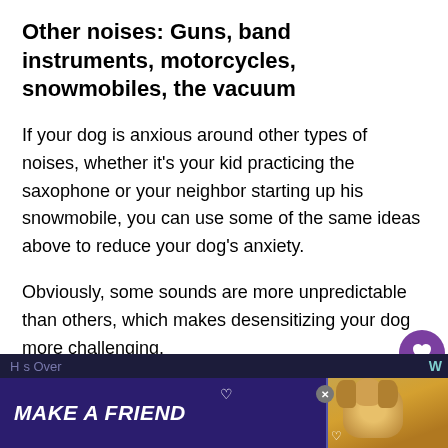Other noises: Guns, band instruments, motorcycles, snowmobiles, the vacuum
If your dog is anxious around other types of noises, whether it's your kid practicing the saxophone or your neighbor starting up his snowmobile, you can use some of the same ideas above to reduce your dog's anxiety.
Obviously, some sounds are more unpredictable than others, which makes desensitizing your dog more challenging.
Additional resources:
[Figure (screenshot): Advertisement banner showing 'MAKE A FRIEND' text with a dog image on dark purple background, with partial page footer showing partial text and a share/heart social sidebar with count 395]